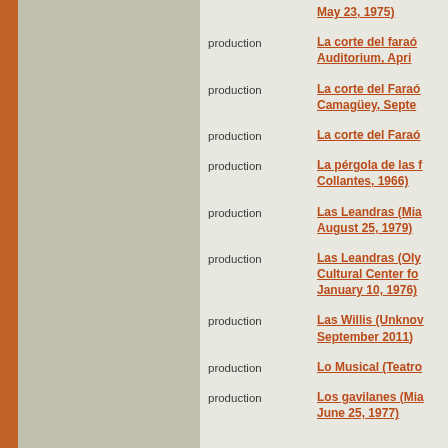| type | title |
| --- | --- |
|  | May 23, 1975) |
| production | La corte del faraó... Auditorium, April... |
| production | La corte del Faraó... Camagüey, Septe... |
| production | La corte del Faraó... |
| production | La pérgola de las f... Collantes, 1966) |
| production | Las Leandras (Mia... August 25, 1979) |
| production | Las Leandras (Oly... Cultural Center fo... January 10, 1976) |
| production | Las Willis (Unknov... September 2011) |
| production | Lo Musical (Teatro... |
| production | Los gavilanes (Mia... June 25, 1977) |